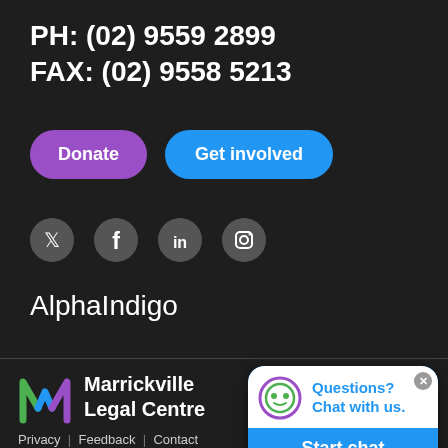PH: (02) 9559 2899
FAX: (02) 9558 5213
[Figure (infographic): Two buttons: purple 'Donate' and blue 'Get involved']
[Figure (infographic): Social media icons: Twitter, Facebook, LinkedIn, Instagram]
AlphaIndigo
[Figure (logo): Marrickville Legal Centre logo with colorful M icon and white bold text]
Privacy | Feedback | Contact
Website Design by Quikclicks.com.au
[Figure (infographic): Chat widget: Questions? Chat with us. Start chat button in blue]